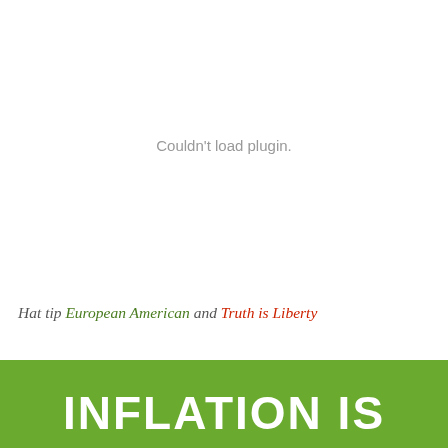[Figure (other): Plugin placeholder area showing 'Couldn't load plugin.' message in gray text on white background]
Hat tip European American and Truth is Liberty
[Figure (other): Green banner with large bold white uppercase text reading 'INFLATION IS']